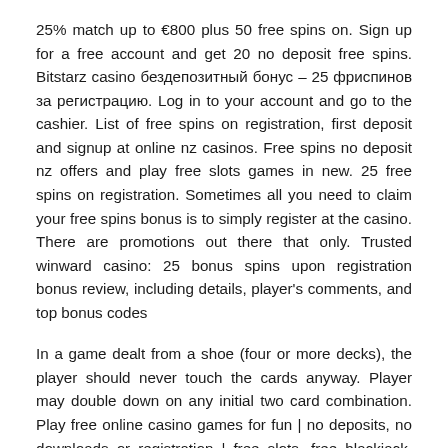25% match up to €800 plus 50 free spins on. Sign up for a free account and get 20 no deposit free spins. Bitstarz casino бездепозитный бонус – 25 фриспинов за регистрацию. Log in to your account and go to the cashier. List of free spins on registration, first deposit and signup at online nz casinos. Free spins no deposit nz offers and play free slots games in new. 25 free spins on registration. Sometimes all you need to claim your free spins bonus is to simply register at the casino. There are promotions out there that only. Trusted winward casino: 25 bonus spins upon registration bonus review, including details, player's comments, and top bonus codes
In a game dealt from a shoe (four or more decks), the player should never touch the cards anyway. Player may double down on any initial two card combination. Play free online casino games for fun | no deposits, no downloads or registration | free slots, free blackjack, free video poker and free roulette. For more vegas slots games as well as